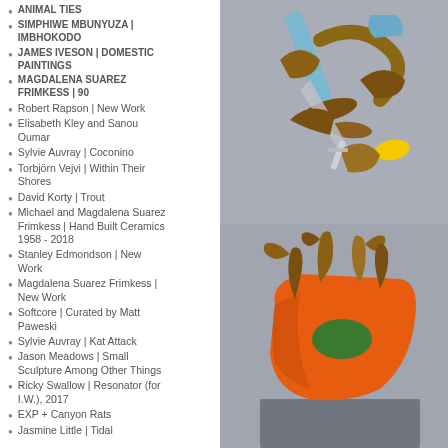ANIMAL TIES
SIMPHIWE MBUNYUZA | IMBHOKODO
JAMES IVESON | DOMESTIC PAINTINGS
MAGDALENA SUAREZ FRIMKESS | 90
Robert Rapson | New Work
Elisabeth Kley and Sanou Oumar
Sylvie Auvray | Coconino
Torbjörn Vejvi | Within Their Shores
David Korty | Trout
Michael and Magdalena Suarez Frimkess | Hand Built Ceramics 1958 - 2018
Stanley Edmondson | New Work
Magdalena Suarez Frimkess | New Work
Softcore | Curated by Matt Paweski
Sylvie Auvray | Kat Attack
Jason Meadows | Small Sculpture Among Other Things
Ricky Swallow | Resonator (for I.W.), 2017
EXP + Canyon Rats
Jasmine Little | Tidal
[Figure (photo): Two ceramic/mixed media sculptures on gray background. Top: an abstract assemblage with blue, brown, and yellow elements. Bottom: an orange vessel or sculptural form with brown organic protrusions on gray background.]